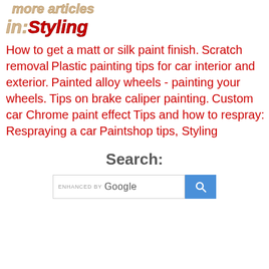more articles
in:Styling
How to get a matt or silk paint finish.
Scratch removal
Plastic painting tips for car interior and exterior.
Painted alloy wheels - painting your wheels.
Tips on brake caliper painting.
Custom car Chrome paint effect
Tips and how to respray: Respraying a car
Paintshop tips, Styling
Search:
[Figure (other): Google search bar with ENHANCED BY Google text and a blue search button with magnifying glass icon]